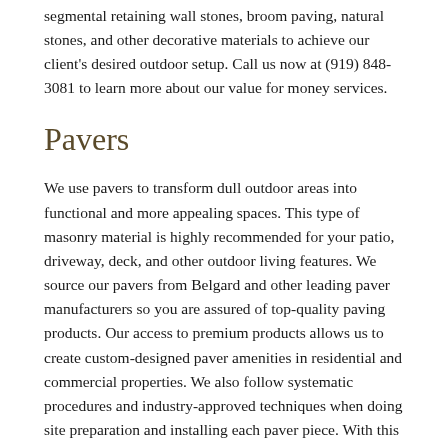segmental retaining wall stones, broom paving, natural stones, and other decorative materials to achieve our client's desired outdoor setup. Call us now at (919) 848-3081 to learn more about our value for money services.
Pavers
We use pavers to transform dull outdoor areas into functional and more appealing spaces. This type of masonry material is highly recommended for your patio, driveway, deck, and other outdoor living features. We source our pavers from Belgard and other leading paver manufacturers so you are assured of top-quality paving products. Our access to premium products allows us to create custom-designed paver amenities in residential and commercial properties. We also follow systematic procedures and industry-approved techniques when doing site preparation and installing each paver piece. With this approach, we can guarantee the longevity of every paver amenity that we build or install. Call us today and let our certified paver installers build your dream outdoor amenities. Read More About Pavers »
Segmental Retaining Walls